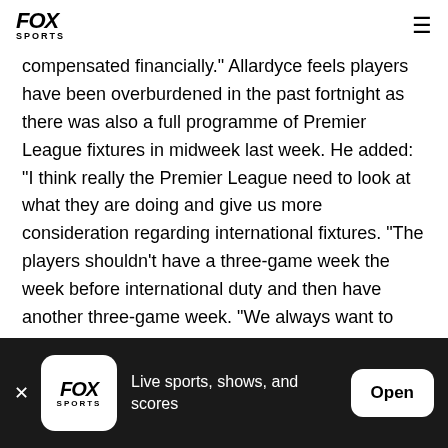FOX SPORTS
compensated financially." Allardyce feels players have been overburdened in the past fortnight as there was also a full programme of Premier League fixtures in midweek last week. He added: "I think really the Premier League need to look at what they are doing and give us more consideration regarding international fixtures. "The players shouldn't have a three-game week the week before international duty and then have another three-game week. "We always want to buy quality players, top internationals. We all
FOX SPORTS — Live sports, shows, and scores — Open